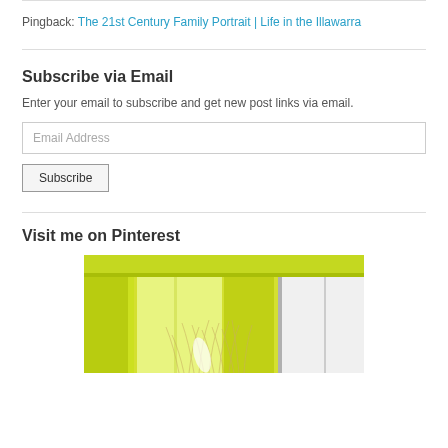Pingback: The 21st Century Family Portrait | Life in the Illawarra
Subscribe via Email
Enter your email to subscribe and get new post links via email.
Email Address
Subscribe
Visit me on Pinterest
[Figure (photo): A yellow/lime green architectural interior photo showing a corner with windows and a plant, used as Pinterest widget thumbnail]